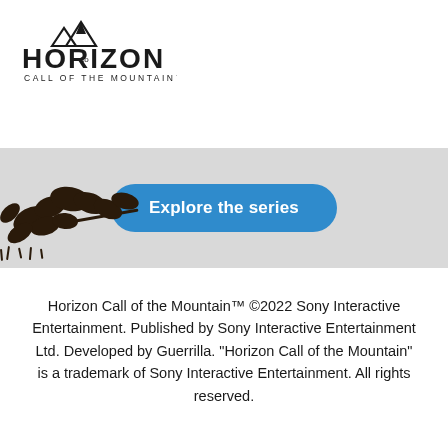[Figure (logo): Horizon Call of the Mountain logo — stylized text with mountain peak icon above]
[Figure (illustration): Gray banner with decorative dark silhouette plant leaves on the left side]
Explore the series
Horizon Call of the Mountain™ ©2022 Sony Interactive Entertainment. Published by Sony Interactive Entertainment Ltd. Developed by Guerrilla. "Horizon Call of the Mountain" is a trademark of Sony Interactive Entertainment. All rights reserved.